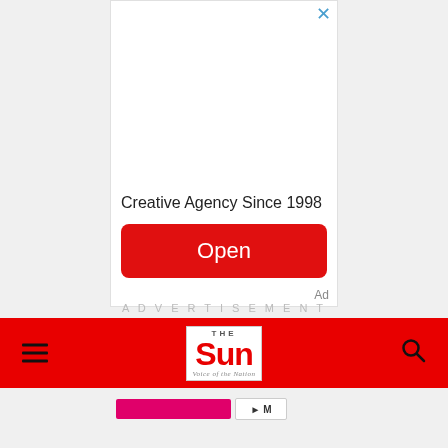[Figure (screenshot): Advertisement unit with close button (X), blank white area, text 'Creative Agency Since 1998', red Open button, and Ad label]
ADVERTISEMENT
[Figure (logo): The Sun newspaper navigation bar with hamburger menu, The Sun logo (Voice of the Nation), and search icon on red background]
[Figure (screenshot): Partial bottom advertisement strip with pink/magenta bar and button]